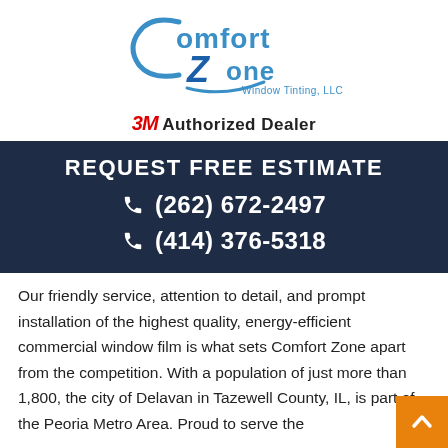[Figure (logo): Comfort Zone Window Tinting, LLC logo with blue stylized text and a curved blue swoosh accent]
3M Authorized Dealer
REQUEST FREE ESTIMATE
☎ (262) 672-2497
☎ (414) 376-5318
Our friendly service, attention to detail, and prompt installation of the highest quality, energy-efficient commercial window film is what sets Comfort Zone apart from the competition. With a population of just more than 1,800, the city of Delavan in Tazewell County, IL, is part of the Peoria Metro Area. Proud to serve the